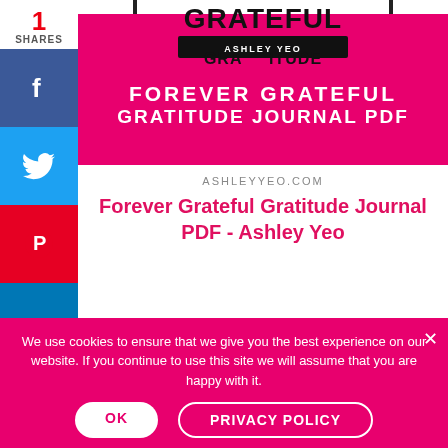[Figure (screenshot): Social share sidebar with count (1 SHARES), Facebook, Twitter, Pinterest, LinkedIn, Reddit buttons]
[Figure (photo): Book cover for 'Forever Grateful Gratitude Journal PDF' by Ashley Yeo on a pink/magenta background with bold white text]
ASHLEYYEO.COM
Forever Grateful Gratitude Journal PDF - Ashley Yeo
We use cookies to ensure that we give you the best experience on our website. If you continue to use this site we will assume that you are happy with it.
OK
PRIVACY POLICY